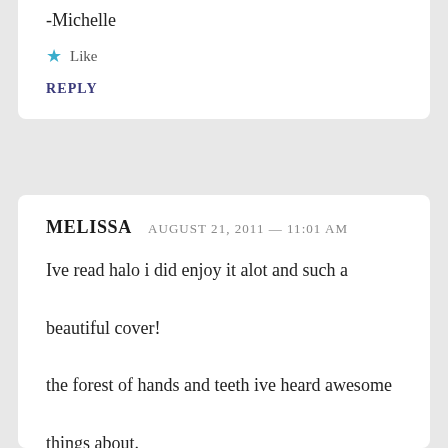-Michelle
★ Like
REPLY
MELISSA   AUGUST 21, 2011 — 11:01 AM
Ive read halo i did enjoy it alot and such a beautiful cover!
the forest of hands and teeth ive heard awesome things about.
★ Like